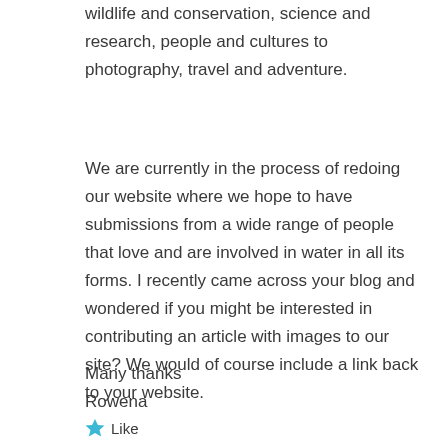wildlife and conservation, science and research, people and cultures to photography, travel and adventure.
We are currently in the process of redoing our website where we hope to have submissions from a wide range of people that love and are involved in water in all its forms. I recently came across your blog and wondered if you might be interested in contributing an article with images to our site? We would of course include a link back to your website.
Many thanks
Rowena
Like